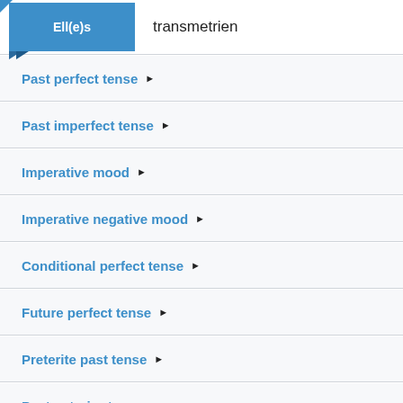Ell(e)s  transmetrien
Past perfect tense ▶
Past imperfect tense ▶
Imperative mood ▶
Imperative negative mood ▶
Conditional perfect tense ▶
Future perfect tense ▶
Preterite past tense ▶
Past anterior tense ▶
Subjunctive of present tense ▶